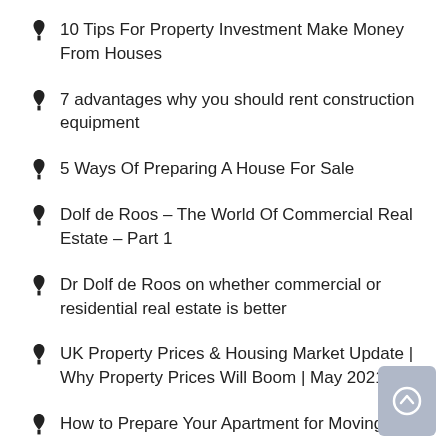10 Tips For Property Investment Make Money From Houses
7 advantages why you should rent construction equipment
5 Ways Of Preparing A House For Sale
Dolf de Roos – The World Of Commercial Real Estate – Part 1
Dr Dolf de Roos on whether commercial or residential real estate is better
UK Property Prices & Housing Market Update | Why Property Prices Will Boom | May 2021
How to Prepare Your Apartment for Moving